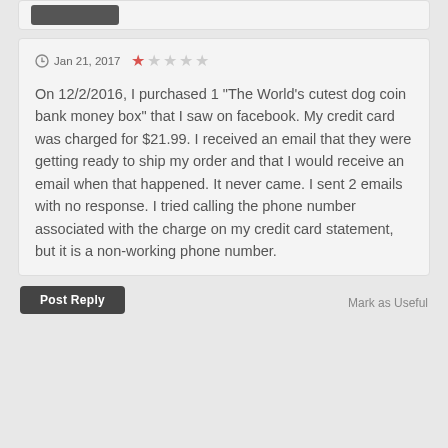Jan 21, 2017  ★☆☆☆☆
On 12/2/2016, I purchased 1 "The World's cutest dog coin bank money box" that I saw on facebook. My credit card was charged for $21.99. I received an email that they were getting ready to ship my order and that I would receive an email when that happened. It never came. I sent 2 emails with no response. I tried calling the phone number associated with the charge on my credit card statement, but it is a non-working phone number.
Post Reply
Mark as Useful